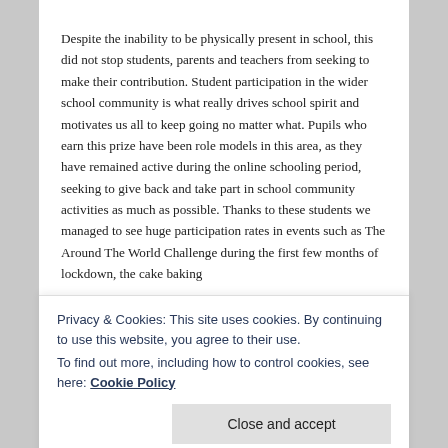Despite the inability to be physically present in school, this did not stop students, parents and teachers from seeking to make their contribution. Student participation in the wider school community is what really drives school spirit and motivates us all to keep going no matter what. Pupils who earn this prize have been role models in this area, as they have remained active during the online schooling period, seeking to give back and take part in school community activities as much as possible. Thanks to these students we managed to see huge participation rates in events such as The Around The World Challenge during the first few months of lockdown, the cake baking
Privacy & Cookies: This site uses cookies. By continuing to use this website, you agree to their use.
To find out more, including how to control cookies, see here: Cookie Policy
we must stand together. These three categories –